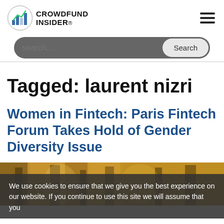CROWDFUND INSIDER
Tagged: laurent nizri
Women in Fintech: Paris Fintech Forum Takes Hold of Gender Diversity Issue
[Figure (photo): Article thumbnail image showing Paris Fintech Forum event venue with golden decor]
We use cookies to ensure that we give you the best experience on our website. If you continue to use this site we will assume that you